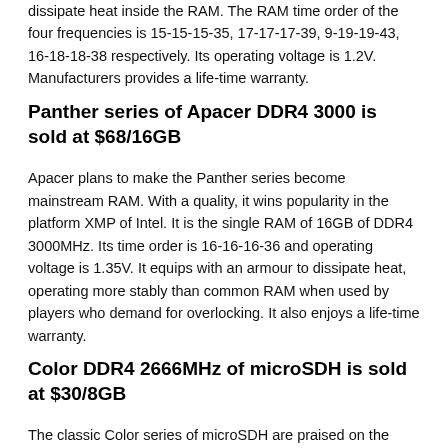dissipate heat inside the RAM. The RAM time order of the four frequencies is 15-15-15-35, 17-17-17-39, 9-19-19-43, 16-18-18-38 respectively. Its operating voltage is 1.2V. Manufacturers provides a life-time warranty.
Panther series of Apacer DDR4 3000 is sold at $68/16GB
Apacer plans to make the Panther series become mainstream RAM. With a quality, it wins popularity in the platform XMP of Intel. It is the single RAM of 16GB of DDR4 3000MHz. Its time order is 16-16-16-36 and operating voltage is 1.35V. It equips with an armour to dissipate heat, operating more stably than common RAM when used by players who demand for overlocking. It also enjoys a life-time warranty.
Color DDR4 2666MHz of microSDH is sold at $30/8GB
The classic Color series of microSDH are praised on the market. There are several types of frequency of DDR4, namely, 2133, 2400, 2666. Its capacity is 8GB, and the